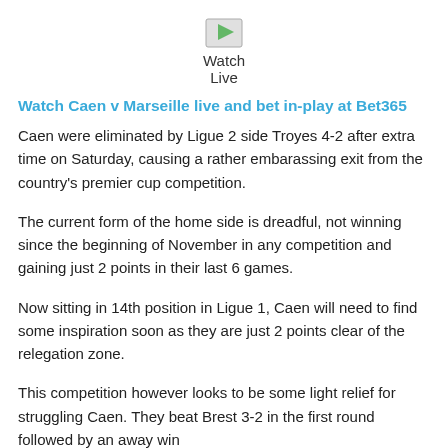[Figure (other): Watch Live icon/image placeholder with text 'Watch Live' below it]
Watch Caen v Marseille live and bet in-play at Bet365
Caen were eliminated by Ligue 2 side Troyes 4-2 after extra time on Saturday, causing a rather embarassing exit from the country's premier cup competition.
The current form of the home side is dreadful, not winning since the beginning of November in any competition and gaining just 2 points in their last 6 games.
Now sitting in 14th position in Ligue 1, Caen will need to find some inspiration soon as they are just 2 points clear of the relegation zone.
This competition however looks to be some light relief for struggling Caen. They beat Brest 3-2 in the first round followed by an away win